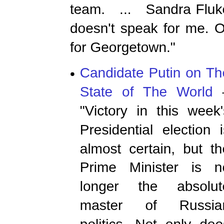team. ... Sandra Fluke doesn't speak for me. Or for Georgetown."
Candidate Putin on The State of The World – "Victory in this week's Presidential election is almost certain, but the Prime Minister is no longer the absolute master of Russian politics. Not only does he face a protest movement that includes some of the most thoughtful and creative people in his country; the old techniques don't